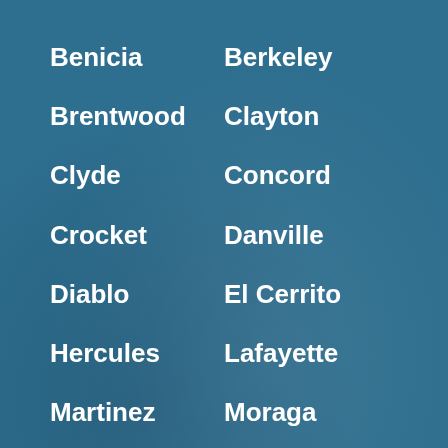Benicia
Berkeley
Brentwood
Clayton
Clyde
Concord
Crocket
Danville
Diablo
El Cerrito
Hercules
Lafayette
Martinez
Moraga
Oakland
Oakley
Orinda
Pinole